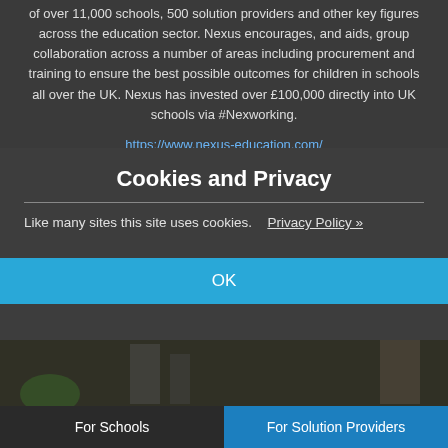of over 11,000 schools, 500 solution providers and other key figures across the education sector. Nexus encourages, and aids, group collaboration across a number of areas including procurement and training to ensure the best possible outcomes for children in schools all over the UK. Nexus has invested over £100,000 directly into UK schools via #Nexworking.
https://www.nexus-education.com/
Cookies and Privacy
Like many sites this site uses cookies.  Privacy Policy »
OK
[Figure (photo): Dark-tinted photo of students or people in a classroom/educational setting]
For Schools  |  For Solution Providers